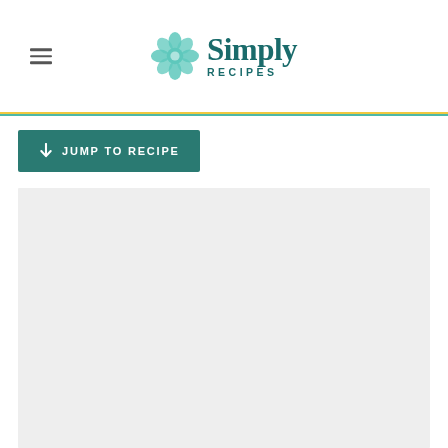Simply Recipes
JUMP TO RECIPE
[Figure (photo): Large light gray placeholder image area for a recipe photo]